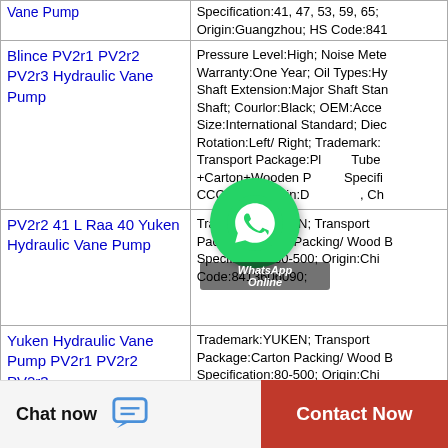| Product | Details |
| --- | --- |
| Vane Pump (partial) | Specification:41, 47, 53, 59, 65; Origin:Guangzhou; HS Code:841... |
| Blince PV2r1 PV2r2 PV2r3 Hydraulic Vane Pump | Pressure Level:High; Noise Mete... Warranty:One Year; Oil Types:Hy... Shaft Extension:Major Shaft Stan... Shaft; Courlor:Black; OEM:Acce... Size:International Standard; Diec... Rotation:Left/ Right; Trademark:... Transport Package:Plastic Tube +Carton+Wooden P... Specifi... CCC, ISO; Origin:Dongguan, Ch... |
| PV2r2 41 L Raa 40 Yuken Hydraulic Vane Pump | Trademark:YUKEN; Transport Package:Carton Packing/ Wood B... Specification:80-500; Origin:Chi... Code:8413606090; |
| Yuken Hydraulic Vane Pump PV2r1 PV2r2 PV2r3 | Trademark:YUKEN; Transport Package:Carton Packing/ Wood B... Specification:80-500; Origin:Chi... |
Chat now
Contact Now